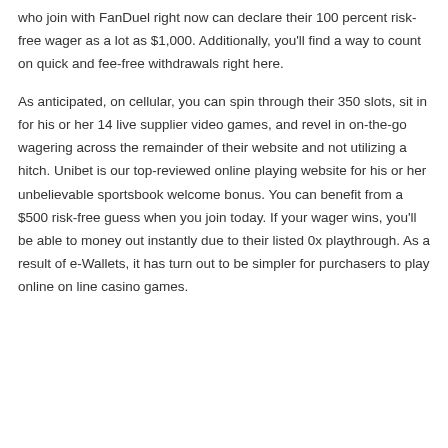who join with FanDuel right now can declare their 100 percent risk-free wager as a lot as $1,000. Additionally, you'll find a way to count on quick and fee-free withdrawals right here.
As anticipated, on cellular, you can spin through their 350 slots, sit in for his or her 14 live supplier video games, and revel in on-the-go wagering across the remainder of their website and not utilizing a hitch. Unibet is our top-reviewed online playing website for his or her unbelievable sportsbook welcome bonus. You can benefit from a $500 risk-free guess when you join today. If your wager wins, you'll be able to money out instantly due to their listed 0x playthrough. As a result of e-Wallets, it has turn out to be simpler for purchasers to play online on line casino games.